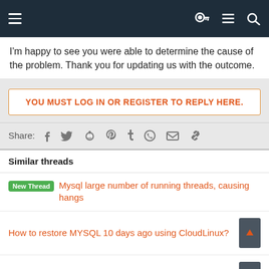Navigation bar with menu, key, list, and search icons
I'm happy to see you were able to determine the cause of the problem. Thank you for updating us with the outcome.
YOU MUST LOG IN OR REGISTER TO REPLY HERE.
Share:
Similar threads
New Thread  Mysql large number of running threads, causing hangs
How to restore MYSQL 10 days ago using CloudLinux?
Database Abusing
SOLVED  [URS-4211 MySQL 5.7.36 -> 5.7.37 upgrade failed due to